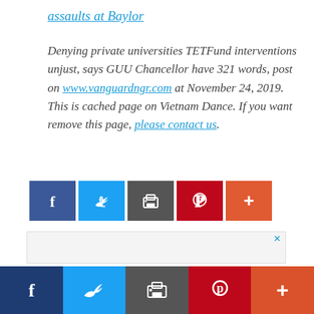assaults at Baylor
Denying private universities TETFund interventions unjust, says GUU Chancellor have 321 words, post on www.vanguardngr.com at November 24, 2019. This is cached page on Vietnam Dance. If you want remove this page, please contact us.
[Figure (infographic): Social sharing buttons row: Facebook (blue), Twitter (light blue), Email/print (dark gray), Pinterest (red), More/plus (orange-red)]
[Figure (infographic): Advertisement area with close X button]
[Figure (infographic): Bottom social sharing bar: Facebook (dark blue), Twitter (blue), Email (gray), Pinterest (red), More/plus (orange-red)]